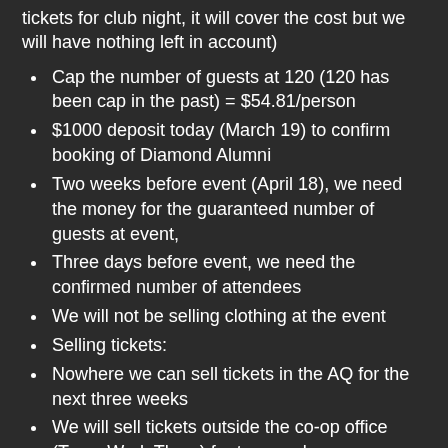tickets for club night, it will cover the cost but we will have nothing left in account)
Cap the number of guests at 120 (120 has been cap in the past) = $54.81/person
$1000 deposit today (March 19) to confirm booking of Diamond Alumni
Two weeks before event (April 18), we need the money for the guaranteed number of guests at event,
Three days before event, we need the confirmed number of attendees
We will not be selling clothing at the event
Selling tickets:
Nowhere we can sell tickets in the AQ for the next three weeks
We will sell tickets outside the co-op office (Tues, Wed, Thurs) for two weeks
Tickets can be purchased in the general office outside those times (Blaine will talk to Laurie)